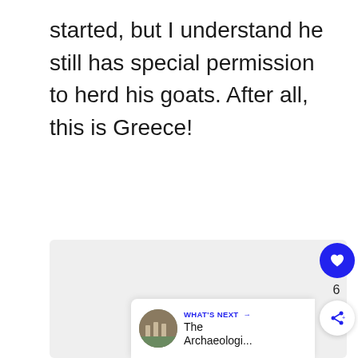started, but I understand he still has special permission to herd his goats. After all, this is Greece!
[Figure (photo): Large light grey rectangular image placeholder area]
[Figure (screenshot): UI element showing a blue heart/like FAB button with count 6, a share button, and a 'WHAT'S NEXT' card showing 'The Archaeologi...' with a thumbnail]